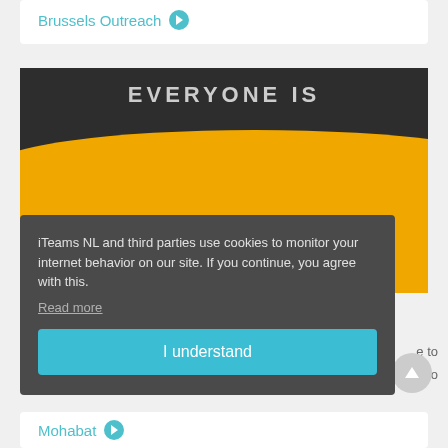Brussels Outreach →
[Figure (photo): Photo of a wooden sign reading 'EVERYONE IS WELCOME' in large bold text on a yellow and dark background]
iTeams NL and third parties use cookies to monitor your internet behavior on our site. If you continue, you agree with this.
Read more
I understand
Mohabat →